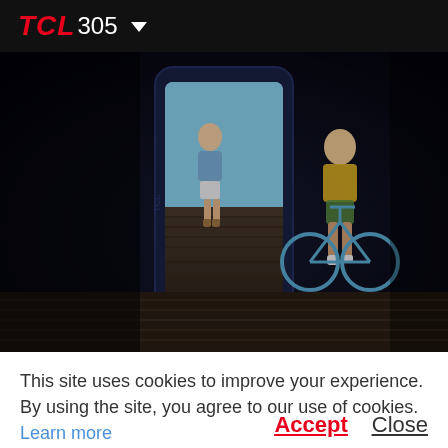TCL 305 ▼
[Figure (photo): TCL 305 smartphone promotional image showing the device standing upright with a lifestyle photo on screen of two young women on a boardwalk with a bicycle, set against a dark moody background.]
This site uses cookies to improve your experience. By using the site, you agree to our use of cookies. Learn more
Accept  Close